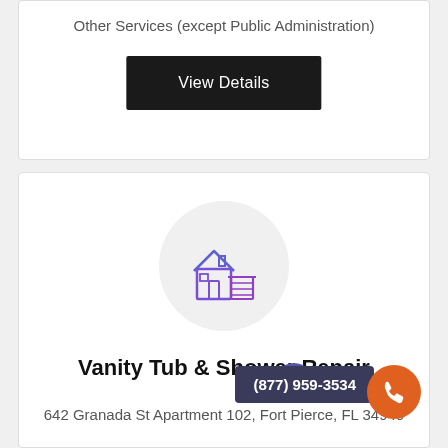Other Services (except Public Administration)
View Details
[Figure (illustration): House/building icon in purple/blue outline style inside a light gray circle]
Vanity Tub & Shower Repair
642 Granada St Apartment 102, Fort Pierce, FL 34949
Other Services (except Public Administration)
(877) 959-3534